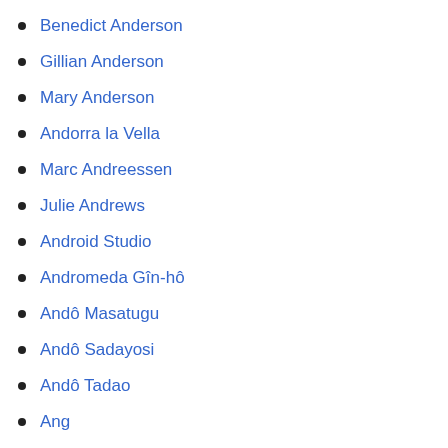Benedict Anderson
Gillian Anderson
Mary Anderson
Andorra la Vella
Marc Andreessen
Julie Andrews
Android Studio
Andromeda Gîn-hô
Andô Masatugu
Andô Sadayosi
Andô Tadao
Ang